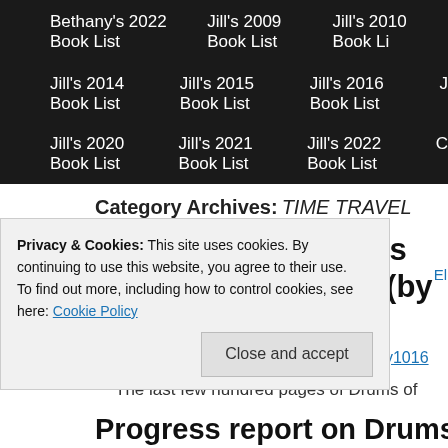Bethany's 2022 Book List   Jill's 2009 Book List   Jill's 2010 Book List
Jill's 2014 Book List   Jill's 2015 Book List   Jill's 2016 Book List
Jill's 2020 Book List   Jill's 2021 Book List   Jill's 2022 Book List
Category Archives: TIME TRAVEL
Concluding thoughts on Diana Gabaldon (by Jill)
Posted on December 14, 2017 by badkitty1016
The last few hundred pages of Drums of Autumn definitely we few hundred, which was a good thing.  But the plot point that m
Privacy & Cookies: This site uses cookies. By continuing to use this website, you agree to their use.
To find out more, including how to control cookies, see here: Cookie Policy
Progress report on Drums of Autumn (by